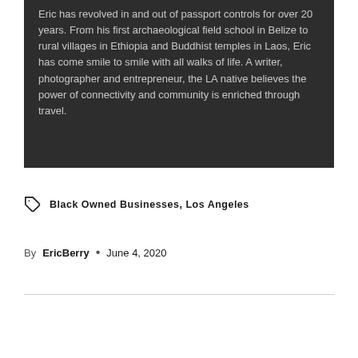Eric has revolved in and out of passport controls for over 20 years. From his first archaeological field school in Belize to rural villages in Ethiopia and Buddhist temples in Laos, Eric has come smile to smile with all walks of life. A writer, photographer and entrepreneur, the LA native believes the power of connectivity and community is enriched through travel.
Black Owned Businesses, Los Angeles
By EricBerry • June 4, 2020